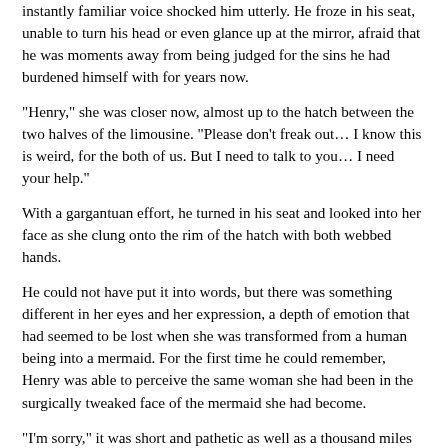instantly familiar voice shocked him utterly. He froze in his seat, unable to turn his head or even glance up at the mirror, afraid that he was moments away from being judged for the sins he had burdened himself with for years now.
"Henry," she was closer now, almost up to the hatch between the two halves of the limousine. "Please don't freak out… I know this is weird, for the both of us. But I need to talk to you… I need your help."
With a gargantuan effort, he turned in his seat and looked into her face as she clung onto the rim of the hatch with both webbed hands.
He could not have put it into words, but there was something different in her eyes and her expression, a depth of emotion that had seemed to be lost when she was transformed from a human being into a mermaid. For the first time he could remember, Henry was able to perceive the same woman she had been in the surgically tweaked face of the mermaid she had become.
"I'm sorry," it was short and pathetic as well as a thousand miles away from the intensity of the guilt he was feeling, but under the circumstances it was all he could manage right there and then.
"I don't need you to be sorry," Carla shook her head, "I need you